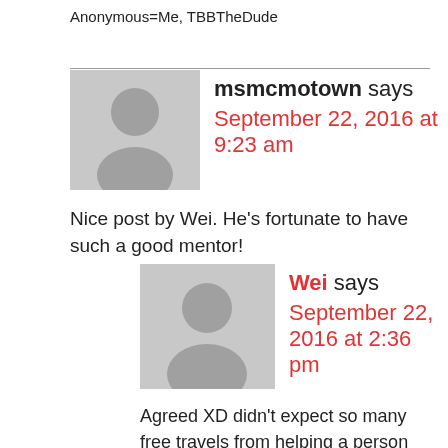Anonymous=Me, TBBTheDude
msmcmotown says
September 22, 2016 at 9:23 am
Nice post by Wei. He’s fortunate to have such a good mentor!
Wei says
September 22, 2016 at 2:36 pm
Agreed XD didn’t expect so many free travels from helping a person with their website!